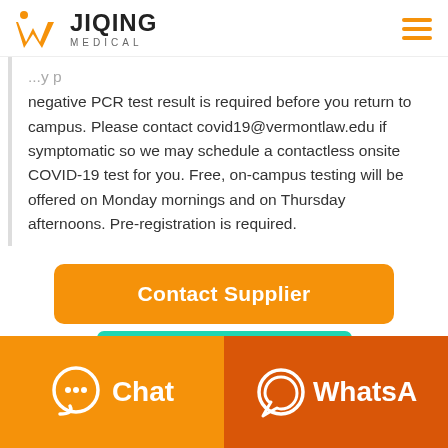[Figure (logo): Jiqing Medical logo with orange W icon and hamburger menu]
negative PCR test result is required before you return to campus. Please contact covid19@vermontlaw.edu if symptomatic so we may schedule a contactless onsite COVID-19 test for you. Free, on-campus testing will be offered on Monday mornings and on Thursday afternoons. Pre-registration is required.
Contact Supplier
Chat
WhatsA